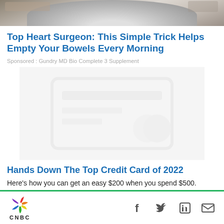[Figure (photo): Top portion of a chrome/metallic object, possibly a car wheel or kitchen appliance, cropped at top of page]
Top Heart Surgeon: This Simple Trick Helps Empty Your Bowels Every Morning
Sponsored : Gundry MD Bio Complete 3 Supplement
[Figure (photo): Blurred/placeholder advertisement image with faint outline of a credit card shape]
Hands Down The Top Credit Card of 2022
Here's how you can get an easy $200 when you spend $500.
CNBC logo with social share icons: Facebook, Twitter, LinkedIn, Email